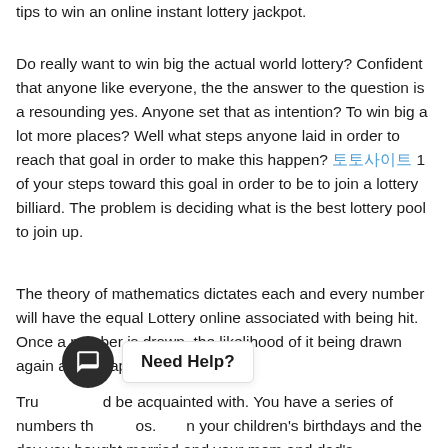tips to win an online instant lottery jackpot.
Do really want to win big the actual world lottery? Confident that anyone like everyone, the the answer to the question is a resounding yes. Anyone set that as intention? To win big a lot more places? Well what steps anyone laid in order to reach that goal in order to make this happen? [link] 1 of your steps toward this goal in order to be to join a lottery billiard. The problem is deciding what is the best lottery pool to join up.
The theory of mathematics dictates each and every number will have the equal Lottery online associated with being hit. Once a number is drawn, the likelihood of it being drawn again are cheaper.
Try and be acquainted with. You have a series of numbers that most possibly chosen from your children's birthdays and the day you bought married and your mom and dad's everlasting